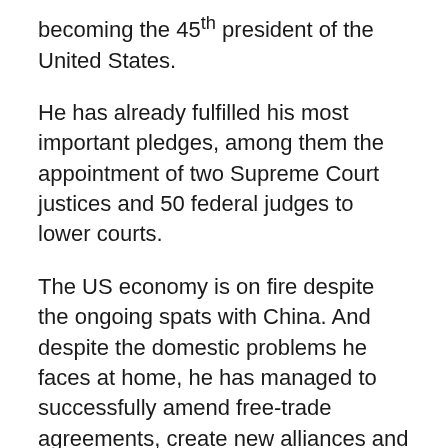becoming the 45th president of the United States.
He has already fulfilled his most important pledges, among them the appointment of two Supreme Court justices and 50 federal judges to lower courts.
The US economy is on fire despite the ongoing spats with China. And despite the domestic problems he faces at home, he has managed to successfully amend free-trade agreements, create new alliances and successfully promote US interests in NATO and other international bodies.
He has maintained his policy of maximum pressure on Iran by withdrawing from the 2015 nuclear deal and imposing sanctions. Even the investigations into the alleged Russian interference in the election went nowhere, and we see that something came out of somewhere.